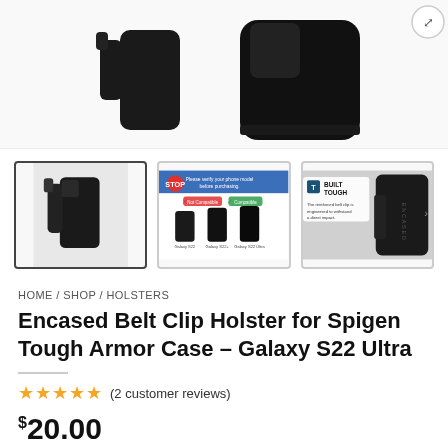[Figure (photo): Product hero images showing the Encased Belt Clip Holster for Spigen Tough Armor Case from two angles on a white background, with an expand icon in the top right.]
[Figure (photo): Row of three product thumbnails: (1) holster with phone, selected with dark border; (2) compatibility chart showing STOP sign, Not Compatible vs Compatible for Galaxy S22, S22+, S22 Ultra; (3) Built Tough reinforced belt clip marketing image with ENCASED branding.]
HOME / SHOP / HOLSTERS
Encased Belt Clip Holster for Spigen Tough Armor Case – Galaxy S22 Ultra
(2 customer reviews)
$20.00